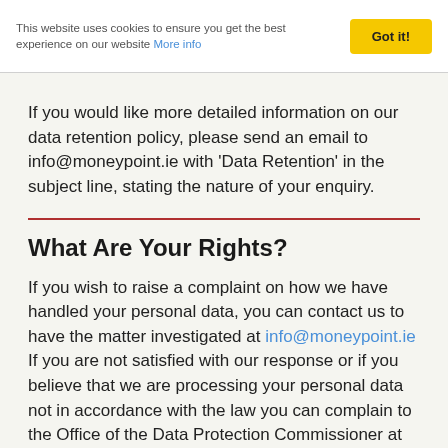This website uses cookies to ensure you get the best experience on our website More info  Got it!
If you would like more detailed information on our data retention policy, please send an email to info@moneypoint.ie with 'Data Retention' in the subject line, stating the nature of your enquiry.
What Are Your Rights?
If you wish to raise a complaint on how we have handled your personal data, you can contact us to have the matter investigated at info@moneypoint.ie If you are not satisfied with our response or if you believe that we are processing your personal data not in accordance with the law you can complain to the Office of the Data Protection Commissioner at info@dataprotection.ie